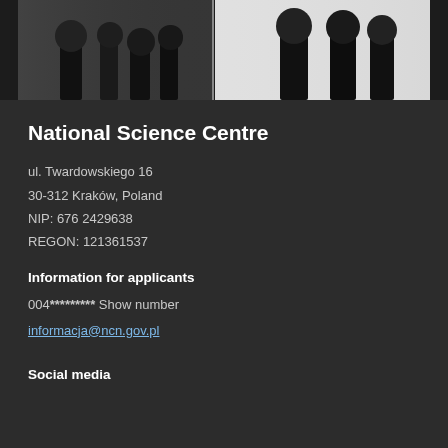[Figure (photo): Two side-by-side photographs of people in formal/dark attire, partially visible at the top of the page]
National Science Centre
ul. Twardowskiego 16
30-312 Kraków, Poland
NIP: 676 2429638
REGON: 121361537
Information for applicants
004********* Show number
informacja@ncn.gov.pl
Social media